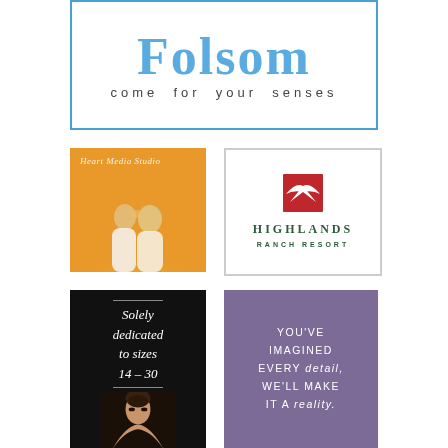[Figure (logo): Folsom city logo with large blue handwritten-style text 'Folsom' and subtitle 'come for your senses' in a blue-bordered white box]
[Figure (photo): Heart Media Studio ad — couple silhouetted kissing against warm golden background with script logo text]
[Figure (logo): Highlands Ranch Resort logo — red square with white bird icon above green text HIGHLANDS RANCH RESORT in bordered white box]
[Figure (illustration): Black ad with white italic script text 'Solely dedicated to sizes 14-30' with decorative lines and woman's portrait below]
[Figure (illustration): Purple/mauve ad with white uppercase text: YOU'VE IMAGINED EVERY detail, WE'LL MAKE IT A reality.]